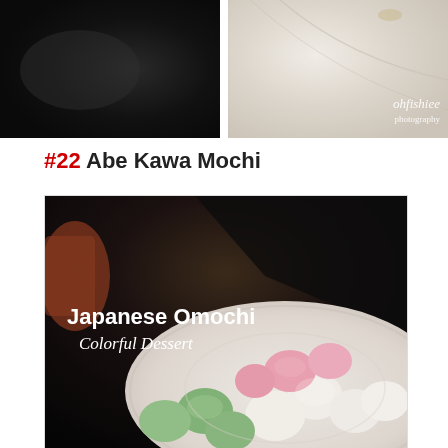[Figure (photo): Two food photos side by side at top: left shows a dark lacquered tray/surface, right shows a white ceramic dish with 'ohfishiee photography' watermark in lower right]
#22 Abe Kawa Mochi
[Figure (photo): Large photo of colorful Japanese mochi desserts (green, pink, white) arranged on a white plate against a dark background, with text overlay 'Japanese Omochi Colorful Dessert']